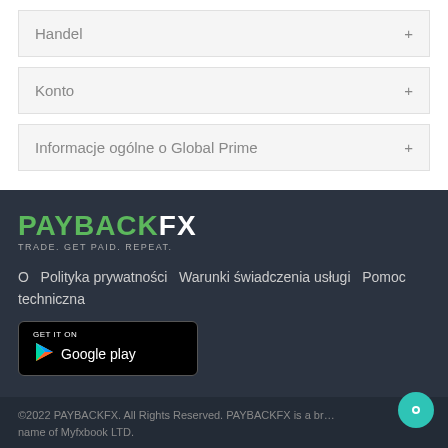Handel
Konto
Informacje ogólne o Global Prime
[Figure (logo): PAYBACKFX logo with green PAYBACK and white FX text, tagline TRADE. GET PAID. REPEAT.]
O  Polityka prywatności  Warunki świadczenia usługi  Pomoc techniczna
[Figure (other): Get it on Google Play button]
©2022 PAYBACKFX. All Rights Reserved. PAYBACKFX is a brand name of Myfxbook LTD.